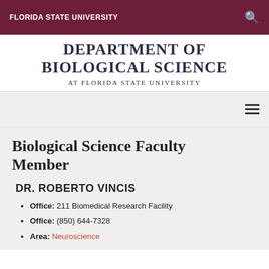FLORIDA STATE UNIVERSITY
DEPARTMENT OF BIOLOGICAL SCIENCE AT FLORIDA STATE UNIVERSITY
Biological Science Faculty Member
DR. ROBERTO VINCIS
Office: 211 Biomedical Research Facility
Office: (850) 644-7328
Area: Neuroscience